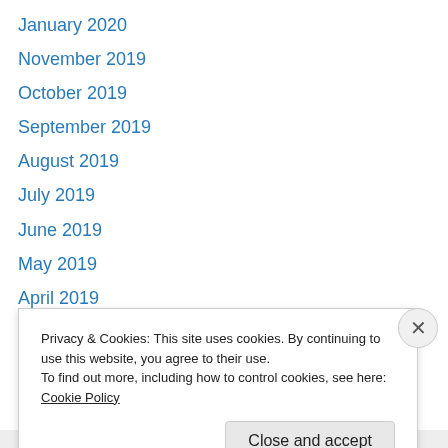January 2020
November 2019
October 2019
September 2019
August 2019
July 2019
June 2019
May 2019
April 2019
March 2019
February 2019
January 2019
December 2018
Privacy & Cookies: This site uses cookies. By continuing to use this website, you agree to their use.
To find out more, including how to control cookies, see here: Cookie Policy
Close and accept